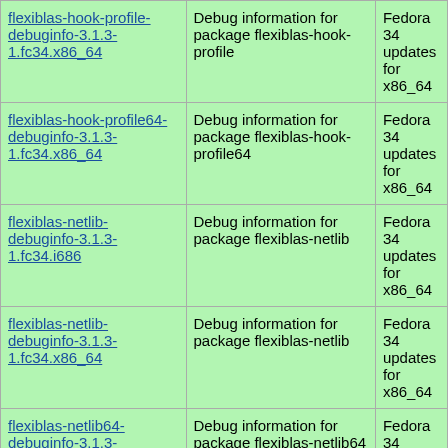| Package | Description | Repository |
| --- | --- | --- |
| flexiblas-hook-profile-debuginfo-3.1.3-1.fc34.x86_64 | Debug information for package flexiblas-hook-profile | Fedora 34 updates for x86_64 |
| flexiblas-hook-profile64-debuginfo-3.1.3-1.fc34.x86_64 | Debug information for package flexiblas-hook-profile64 | Fedora 34 updates for x86_64 |
| flexiblas-netlib-debuginfo-3.1.3-1.fc34.i686 | Debug information for package flexiblas-netlib | Fedora 34 updates for x86_64 |
| flexiblas-netlib-debuginfo-3.1.3-1.fc34.x86_64 | Debug information for package flexiblas-netlib | Fedora 34 updates for x86_64 |
| flexiblas-netlib64-debuginfo-3.1.3-1.fc34.x86_64 | Debug information for package flexiblas-netlib64 | Fedora 34 updates for x86_64 |